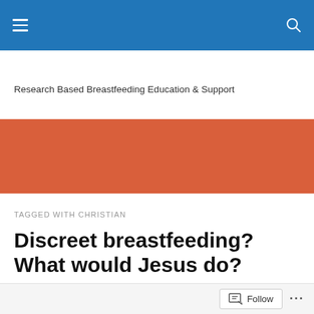Research Based Breastfeeding Education & Support
[Figure (other): Red/terracotta colored banner bar across full page width]
TAGGED WITH CHRISTIAN
Discreet breastfeeding? What would Jesus do?
Follow